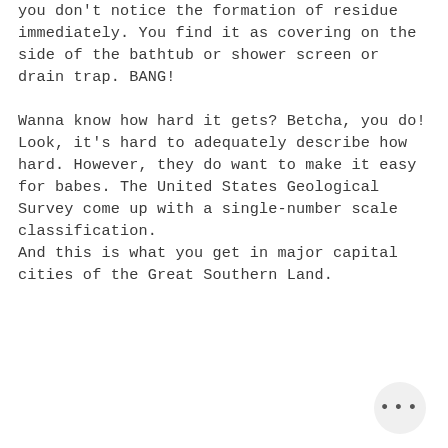you don't notice the formation of residue immediately. You find it as covering on the side of the bathtub or shower screen or drain trap. BANG!

Wanna know how hard it gets? Betcha, you do!
Look, it's hard to adequately describe how hard. However, they do want to make it easy for babes. The United States Geological Survey come up with a single-number scale classification.
And this is what you get in major capital cities of the Great Southern Land.